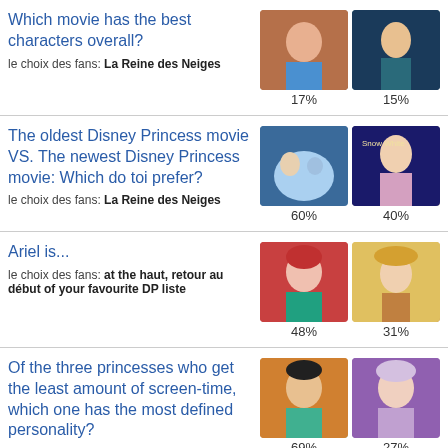Which movie has the best characters overall?
le choix des fans: La Reine des Neiges
17% | 15%
[Figure (photo): Two movie thumbnails: Frozen (Anna) and Mulan characters, with percentages 17% and 15%]
The oldest Disney Princess movie VS. The newest Disney Princess movie: Which do toi prefer?
le choix des fans: La Reine des Neiges
60% | 40%
[Figure (photo): Two movie thumbnails: Frozen cast and Snow White DVD cover, with percentages 60% and 40%]
Ariel is...
le choix des fans: at the haut, retour au début of your favourite DP liste
48% | 31%
[Figure (photo): Two thumbnails: Ariel from The Little Mermaid and another character, with percentages 48% and 31%]
Of the three princesses who get the least amount of screen-time, which one has the most defined personality?
le choix des fans: jasmin
69% | 27%
[Figure (photo): Two thumbnails: Jasmine and Elsa, with percentages 69% and 27%]
Who's plus beautiful?